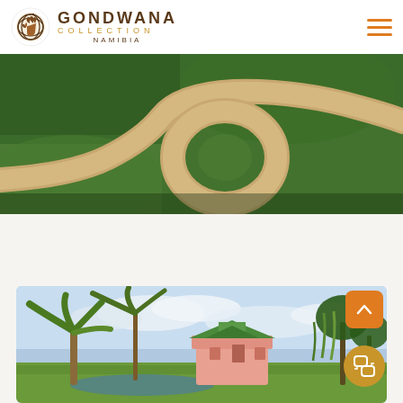Gondwana Collection Namibia
[Figure (photo): Aerial view of a winding sandy path through green grass/vegetation, photographed from above]
[Figure (photo): Resort grounds with palm trees, a pink colonial-style building with green roof, lush vegetation, and a pool area under a partly cloudy sky]